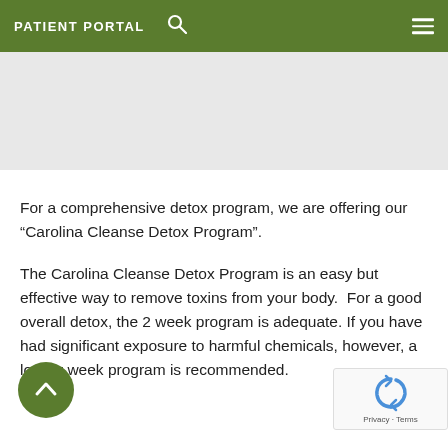PATIENT PORTAL
[Figure (other): Light gray banner/image placeholder area below the navigation header]
For a comprehensive detox program, we are offering our “Carolina Cleanse Detox Program”.
The Carolina Cleanse Detox Program is an easy but effective way to remove toxins from your body.  For a good overall detox, the 2 week program is adequate. If you have had significant exposure to harmful chemicals, however, a longer week program is recommended.